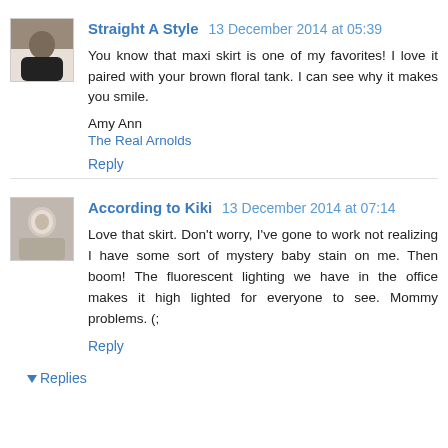Straight A Style 13 December 2014 at 05:39
You know that maxi skirt is one of my favorites! I love it paired with your brown floral tank. I can see why it makes you smile.
Amy Ann
The Real Arnolds
Reply
According to Kiki 13 December 2014 at 07:14
Love that skirt. Don't worry, I've gone to work not realizing I have some sort of mystery baby stain on me. Then boom! The fluorescent lighting we have in the office makes it high lighted for everyone to see. Mommy problems. (;
Reply
Replies